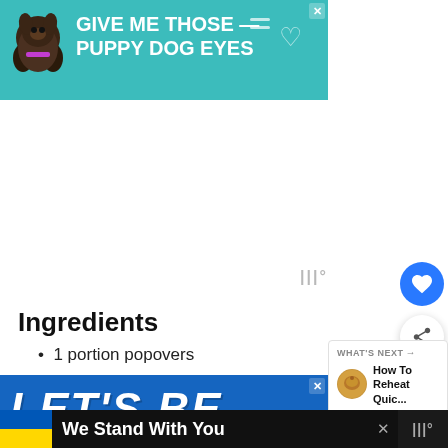[Figure (other): Advertisement banner: teal background with dog image and text 'GIVE ME THOSE PUPPY DOG EYES' with heart icon, close button]
Ingredients
1 portion popovers
[Figure (other): Advertisement banner: blue background with italic text 'LET'S BE' in white]
[Figure (other): Ukraine support banner: 'We Stand With You' text with Ukrainian flag colors]
[Figure (other): What's Next panel: 'How To Reheat Quic...' with food thumbnail]
[Figure (other): Floating action buttons: blue heart/like button and white share button]